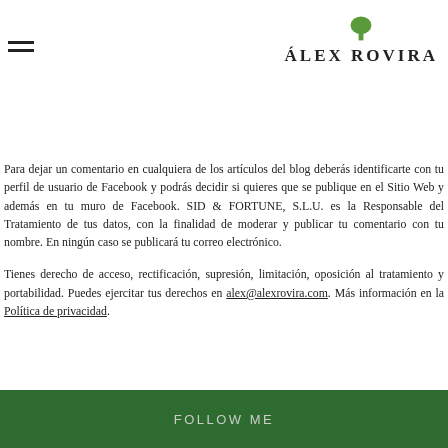ÁLEX ROVIRA
Para dejar un comentario en cualquiera de los artículos del blog deberás identificarte con tu perfil de usuario de Facebook y podrás decidir si quieres que se publique en el Sitio Web y además en tu muro de Facebook. SID & FORTUNE, S.L.U. es la Responsable del Tratamiento de tus datos, con la finalidad de moderar y publicar tu comentario con tu nombre. En ningún caso se publicará tu correo electrónico.
Tienes derecho de acceso, rectificación, supresión, limitación, oposición al tratamiento y portabilidad. Puedes ejercitar tus derechos en alex@alexrovira.com. Más información en la Política de privacidad.
FOLLOW ME